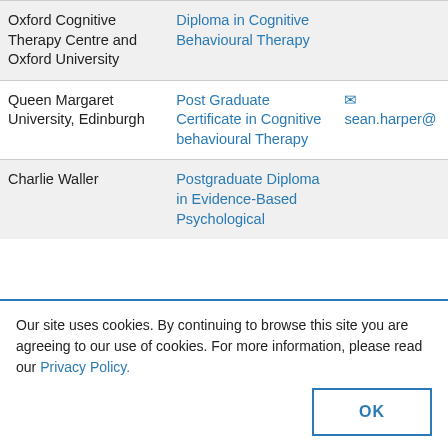| Institution | Qualification | Contact |
| --- | --- | --- |
| Oxford Cognitive Therapy Centre and Oxford University | Diploma in Cognitive Behavioural Therapy |  |
| Queen Margaret University, Edinburgh | Post Graduate Certificate in Cognitive behavioural Therapy | sean.harper@ |
| Charlie Waller | Postgraduate Diploma in Evidence-Based Psychological |  |
Our site uses cookies. By continuing to browse this site you are agreeing to our use of cookies. For more information, please read our Privacy Policy.